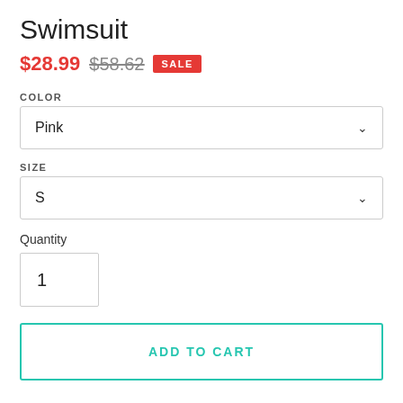Swimsuit
$28.99  $58.62  SALE
COLOR
Pink
SIZE
S
Quantity
1
ADD TO CART